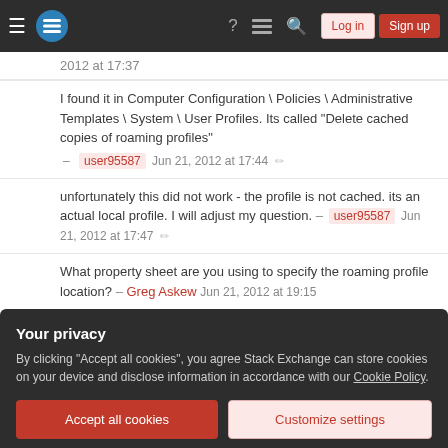Stack Exchange navigation bar with Log in and Sign up buttons
2012 at 17:37
I found it in Computer Configuration \ Policies \ Administrative Templates \ System \ User Profiles. Its called "Delete cached copies of roaming profiles" – user95587 Jun 21, 2012 at 17:44
unfortunately this did not work - the profile is not cached. its an actual local profile. I will adjust my question. – user95587 Jun 21, 2012 at 17:47
What property sheet are you using to specify the roaming profile location? – Greg Askew Jun 21, 2012 at 19:15
Your privacy
By clicking "Accept all cookies", you agree Stack Exchange can store cookies on your device and disclose information in accordance with our Cookie Policy.
Accept all cookies | Customize settings
profiles" setting in the GPO that is applied to the